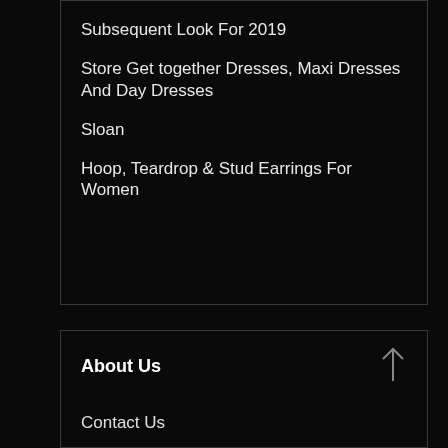Subsequent Look For 2019
Store Get together Dresses, Maxi Dresses And Day Dresses
Sloan
Hoop, Teardrop & Stud Earrings For Women
About Us
Contact Us
Disclosure Policy